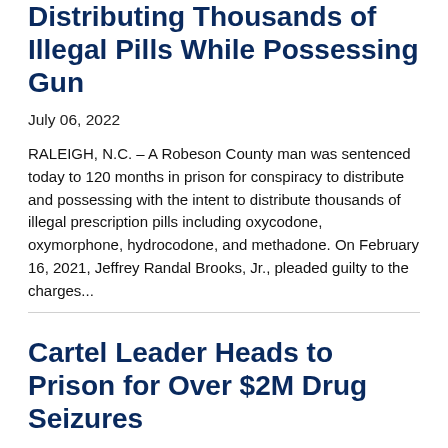Sentenced to 10 Years for Distributing Thousands of Illegal Pills While Possessing Gun
July 06, 2022
RALEIGH, N.C. – A Robeson County man was sentenced today to 120 months in prison for conspiracy to distribute and possessing with the intent to distribute thousands of illegal prescription pills including oxycodone, oxymorphone, hydrocodone, and methadone. On February 16, 2021, Jeffrey Randal Brooks, Jr., pleaded guilty to the charges...
Cartel Leader Heads to Prison for Over $2M Drug Seizures